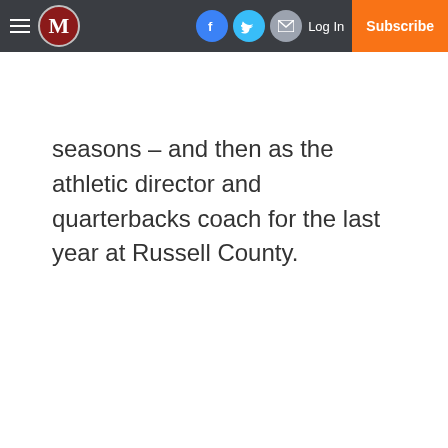M [navigation bar with hamburger menu, M logo, Facebook, Twitter, Email icons, Log In, Subscribe]
seasons – and then as the athletic director and quarterbacks coach for the last year at Russell County.